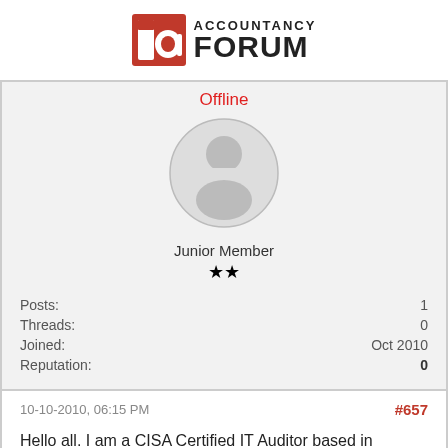[Figure (logo): Accountancy Forum logo with red stylized 'ia' icon and bold text 'ACCOUNTANCY FORUM']
Offline
[Figure (illustration): Default user avatar: grey circle with white silhouette of a person]
Junior Member
★★
|  |  |
| --- | --- |
| Posts: | 1 |
| Threads: | 0 |
| Joined: | Oct 2010 |
| Reputation: | 0 |
10-10-2010, 06:15 PM
#657
Hello all. I am a CISA Certified IT Auditor based in